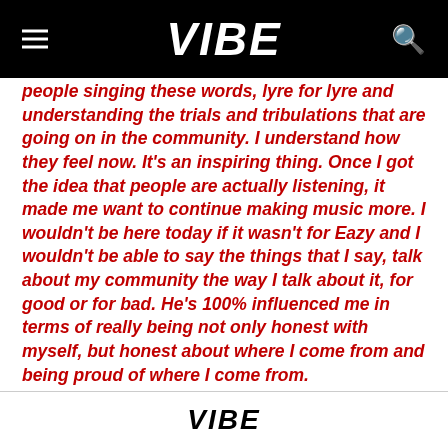VIBE
people singing these words, lyre for lyre and understanding the trials and tribulations that are going on in the community. I understand how they feel now. It's an inspiring thing. Once I got the idea that people are actually listening, it made me want to continue making music more. I wouldn't be here today if it wasn't for Eazy and I wouldn't be able to say the things that I say, talk about my community the way I talk about it, for good or for bad. He's 100% influenced me in terms of really being not only honest with myself, but honest about where I come from and being proud of where I come from.
VIBE